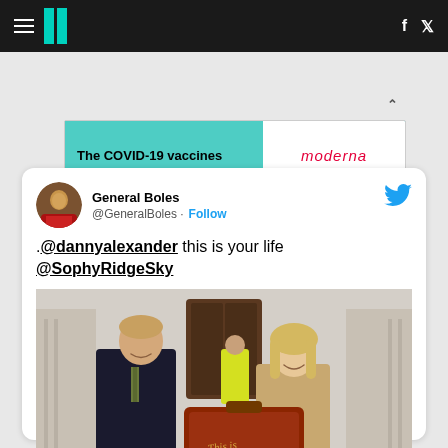HuffPost UK navigation bar with logo, hamburger menu, Facebook and Twitter icons
[Figure (screenshot): Moderna COVID-19 vaccine advertisement banner: 'The COVID-19 vaccines are here for your family' with Moderna logo]
[Figure (screenshot): Embedded tweet from @GeneralBoles: '.@dannyalexander this is your life @SophyRidgeSky' with a photo of two people holding a red briefcase labelled 'This is Your Life' outside a government building]
.@dannyalexander this is your life @SophyRidgeSky